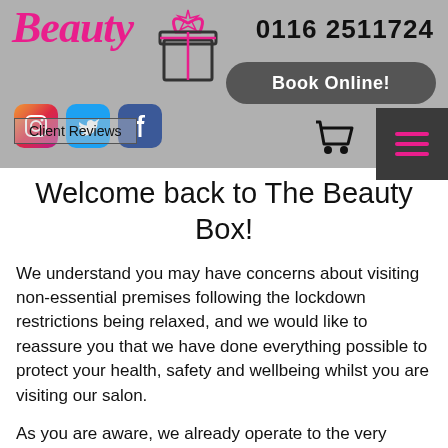[Figure (screenshot): Website header/navigation bar for The Beauty Box salon. Contains the logo in pink italic cursive 'Beauty' with a gift box icon, phone number '0116 2511724', a dark rounded 'Book Online!' button, Instagram/Twitter/Facebook social icons, a 'Client Reviews' button, a shopping cart icon, and a dark hamburger menu button with pink lines.]
Welcome back to The Beauty Box!
We understand you may have concerns about visiting non-essential premises following the lockdown restrictions being relaxed, and we would like to reassure you that we have done everything possible to protect your health, safety and wellbeing whilst you are visiting our salon.
As you are aware, we already operate to the very highest standards of health and hygiene, and the safety of our staff and our customers continues to be of